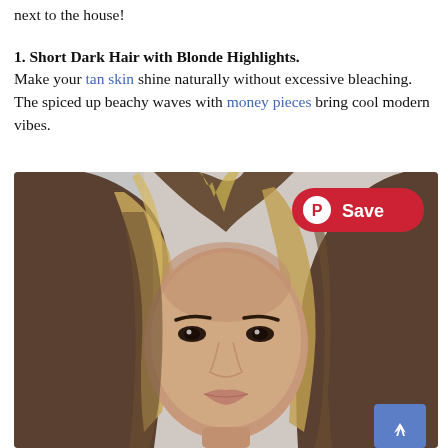next to the house!
1. Short Dark Hair with Blonde Highlights. Make your tan skin shine naturally without excessive bleaching. The spiced up beachy waves with money pieces bring cool modern vibes.
[Figure (photo): Close-up photo of a young woman with short dark hair featuring prominent blonde highlights and beachy waves, looking directly at the camera. A red Pinterest 'Save' button is overlaid in the top right corner of the image. A blue scroll-up button is in the bottom right corner.]